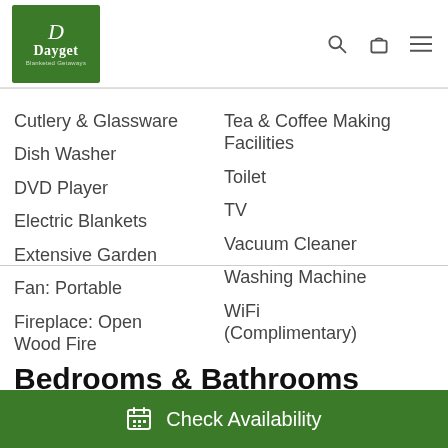[Figure (logo): Dayget logo — white text on green background with decorative D and tagline]
Cutlery & Glassware
Dish Washer
DVD Player
Electric Blankets
Extensive Garden
Fan: Portable
Fireplace: Open Wood Fire
Tea & Coffee Making Facilities
Toilet
TV
Vacuum Cleaner
Washing Machine
WiFi (Complimentary)
Bedrooms & Bathrooms
Check Availability